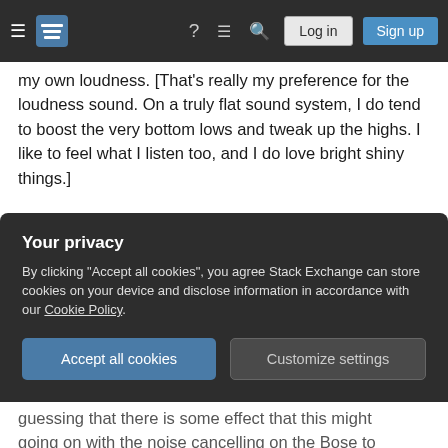Stack Exchange navigation bar with hamburger menu, logo, help, chat, search, Log in and Sign up buttons
my own loudness. [That's really my preference for the loudness sound. On a truly flat sound system, I do tend to boost the very bottom lows and tweak up the highs. I like to feel what I listen too, and I do love bright shiny things.]
The other difference I found was in what I would call room presence. (I'm sure there's a better name for it.) When you listen to something from a pair of speakers placed in the room, the acoustics of the room at something -- a little delay here, a little more response here, etc. When listening on headphones
Your privacy
By clicking "Accept all cookies", you agree Stack Exchange can store cookies on your device and disclose information in accordance with our Cookie Policy.
Accept all cookies
Customize settings
guessing that there is some effect that this might going on with the noise cancelling on the Bose to